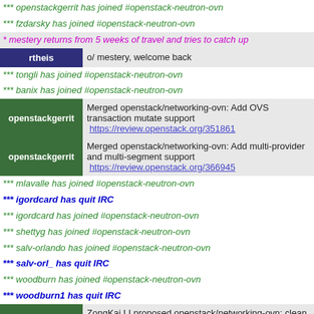*** openstackgerrit has joined #openstack-neutron-ovn
*** fzdarsky has joined #openstack-neutron-ovn
* mestery returns from 5 weeks of travel and tries to catch up
rtheis   o/ mestery, welcome back
*** tongli has joined #openstack-neutron-ovn
*** banix has joined #openstack-neutron-ovn
openstackgerrit   Merged openstack/networking-ovn: Add OVS transaction mutate support  https://review.openstack.org/351861
openstackgerrit   Merged openstack/networking-ovn: Add multi-provider and multi-segment support  https://review.openstack.org/366945
*** mlavalle has joined #openstack-neutron-ovn
*** igordcard has quit IRC
*** igordcard has joined #openstack-neutron-ovn
*** shettyg has joined #openstack-neutron-ovn
*** salv-orlando has joined #openstack-neutron-ovn
*** salv-orl_ has quit IRC
*** woodburn has joined #openstack-neutron-ovn
*** woodburn1 has quit IRC
openstackgerrit   ZongKai LI proposed openstack/networking-ovn: clean port dhcpv4 options within port operations  https://review.openstack.org/366536